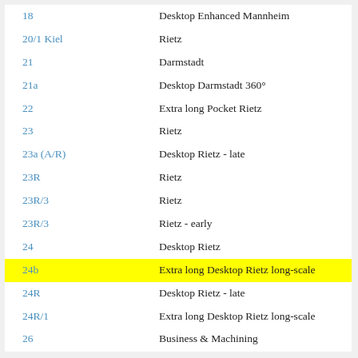| 18 | Desktop Enhanced Mannheim |
| 20/1 Kiel | Rietz |
| 21 | Darmstadt |
| 21a | Desktop Darmstadt 360° |
| 22 | Extra long Pocket Rietz |
| 23 | Rietz |
| 23a (A/R) | Desktop Rietz - late |
| 23R | Rietz |
| 23R/3 | Rietz |
| 23R/3 | Rietz - early |
| 24 | Desktop Rietz |
| 24b | Extra long Desktop Rietz long-scale |
| 24R | Desktop Rietz - late |
| 24R/1 | Extra long Desktop Rietz long-scale |
| 26 | Business & Machining |
| 27 | Desktop Technical long-scale |
| 28 | Universal Toppography - 360g |